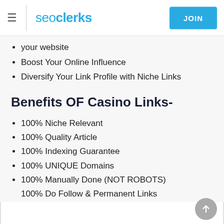seoclerks | JOIN
your website
Boost Your Online Influence
Diversify Your Link Profile with Niche Links
Benefits OF Casino Links-
100% Niche Relevant
100% Quality Article
100% Indexing Guarantee
100% UNIQUE Domains
100% Manually Done (NOT ROBOTS)
100% Do Follow & Permanent Links